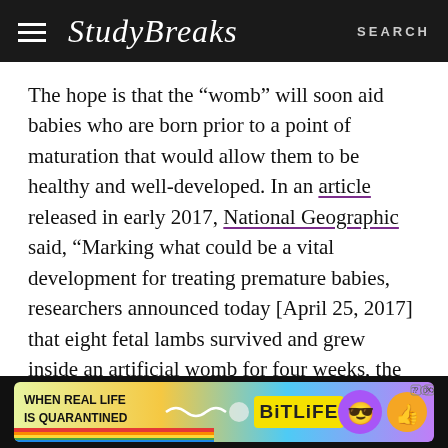StudyBreaks | SEARCH
The hope is that the “womb” will soon aid babies who are born prior to a point of maturation that would allow them to be healthy and well-developed. In an article released in early 2017, National Geographic said, “Marking what could be a vital development for treating premature babies, researchers announced today [April 25, 2017] that eight fetal lambs survived and grew inside an artificial womb for four weeks, the longest an animal has done so.”
[Figure (screenshot): BitLife advertisement banner: colorful ad with text 'WHEN REAL LIFE IS QUARANTINED' and 'BITLIFE' logo with emoji icons]